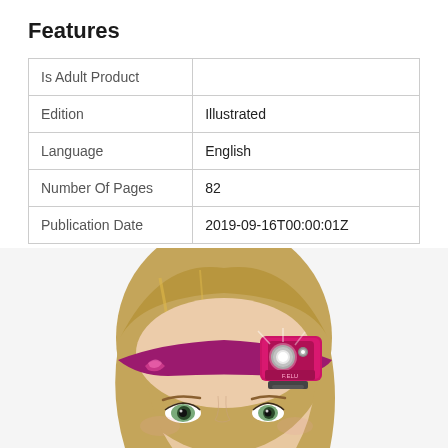Features
|  |  |
| --- | --- |
| Is Adult Product |  |
| Edition | Illustrated |
| Language | English |
| Number Of Pages | 82 |
| Publication Date | 2019-09-16T00:00:01Z |
[Figure (photo): Woman wearing a pink LED headlamp headband on her forehead, cropped to show face and headlamp details.]